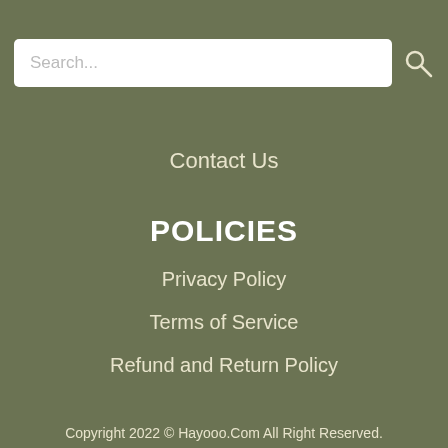[Figure (screenshot): Search bar input field with placeholder text 'Search...' and a search icon button on the right]
Contact Us
POLICIES
Privacy Policy
Terms of Service
Refund and Return Policy
Copyright 2022 © Hayooo.Com All Right Reserved.
[Figure (infographic): Payment method icons: VISA, Mastercard, American Express, a generic card, PayPal, and Shopify/Bolt payment icons]